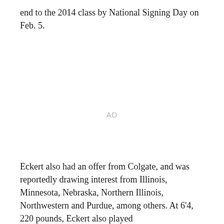end to the 2014 class by National Signing Day on Feb. 5.
[Figure (other): Advertisement placeholder marked 'AD']
Eckert also had an offer from Colgate, and was reportedly drawing interest from Illinois, Minnesota, Nebraska, Northern Illinois, Northwestern and Purdue, among others. At 6'4, 220 pounds, Eckert also played